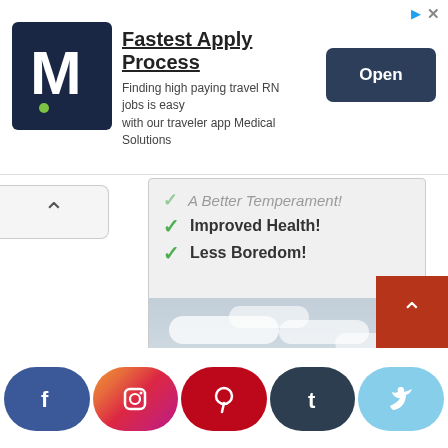[Figure (screenshot): Advertisement banner for Medical Solutions travel RN jobs app with logo, 'Fastest Apply Process' headline, subtitle text, and 'Open' button]
A Better Temperament!
Improved Health!
Less Boredom!
[Figure (photo): Four dogs running across a green grass field under a cloudy sky]
[Figure (infographic): Social media share bar with Facebook, Instagram, Pinterest, Tumblr, and Twitter buttons at bottom of page]